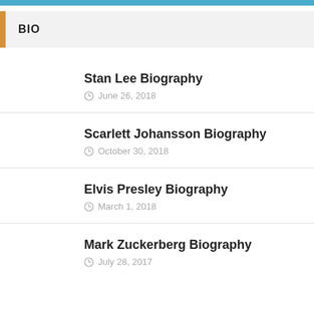BIO
Stan Lee Biography
June 26, 2018
Scarlett Johansson Biography
October 30, 2018
Elvis Presley Biography
March 1, 2018
Mark Zuckerberg Biography
July 28, 2017